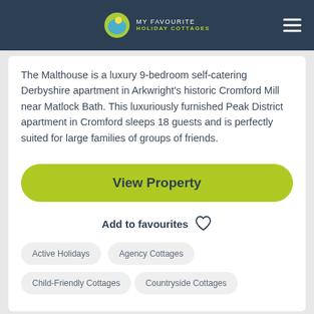MY FAVOURITE HOLIDAY COTTAGES
The Malthouse is a luxury 9-bedroom self-catering Derbyshire apartment in Arkwright's historic Cromford Mill near Matlock Bath. This luxuriously furnished Peak District apartment in Cromford sleeps 18 guests and is perfectly suited for large families of groups of friends.
View Property
Add to favourites
Active Holidays
Agency Cottages
Child-Friendly Cottages
Countryside Cottages